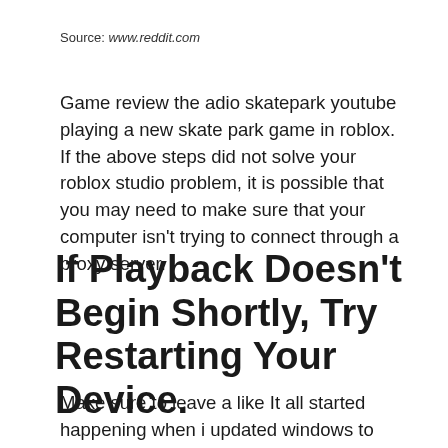Source: www.reddit.com
Game review the adio skatepark youtube playing a new skate park game in roblox. If the above steps did not solve your roblox studio problem, it is possible that you may need to make sure that your computer isn't trying to connect through a proxy server.
If Playback Doesn't Begin Shortly, Try Restarting Your Device.
Make sure to leave a like It all started happening when i updated windows to